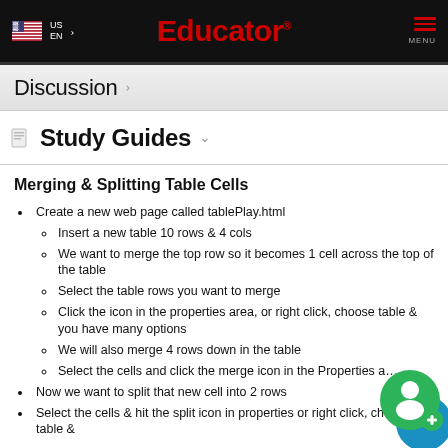Educator — US EN
Discussion
Study Guides
Merging & Splitting Table Cells
Create a new web page called tablePlay.html
Insert a new table 10 rows & 4 cols
We want to merge the top row so it becomes 1 cell across the top of the table
Select the table rows you want to merge
Click the icon in the properties area, or right click, choose table & you have many options
We will also merge 4 rows down in the table
Select the cells and click the merge icon in the Properties a…
Now we want to split that new cell into 2 rows
Select the cells & hit the split icon in properties or right click, choose table &